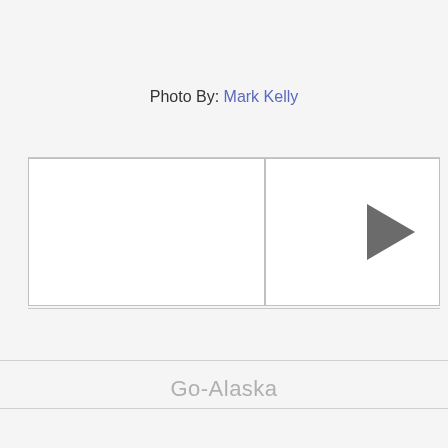Photo By: Mark Kelly
[Figure (photo): Two side-by-side image placeholder boxes. Left box is empty white rectangle. Right box is empty white rectangle with a right-pointing play arrow on the right side.]
Go-Alaska